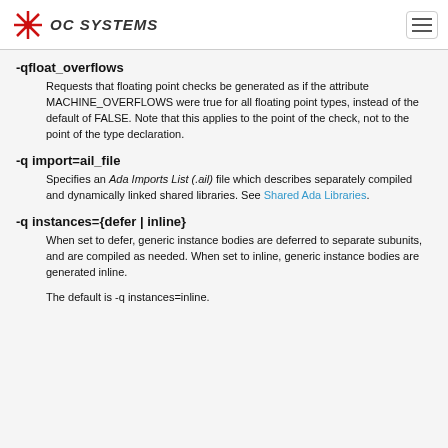OC SYSTEMS
-qfloat_overflows
Requests that floating point checks be generated as if the attribute MACHINE_OVERFLOWS were true for all floating point types, instead of the default of FALSE. Note that this applies to the point of the check, not to the point of the type declaration.
-q import=ail_file
Specifies an Ada Imports List (.ail) file which describes separately compiled and dynamically linked shared libraries. See Shared Ada Libraries.
-q instances={defer | inline}
When set to defer, generic instance bodies are deferred to separate subunits, and are compiled as needed. When set to inline, generic instance bodies are generated inline.
The default is -q instances=inline.